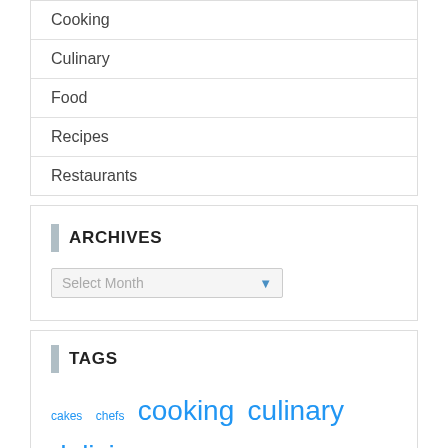Cooking
Culinary
Food
Recipes
Restaurants
ARCHIVES
Select Month
TAGS
cakes  chefs  cooking  culinary  delicious  dinner  healthy  lifestyle  MAGISNAT  Plantains  recipes  restaurant  taste